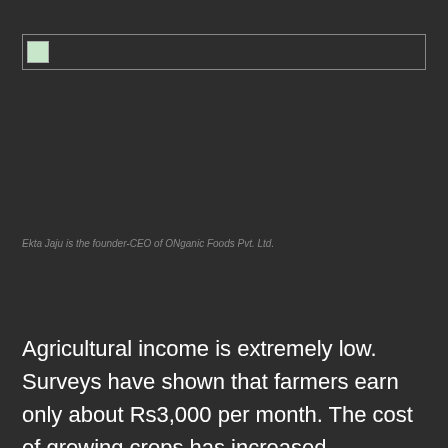[Figure (photo): Broken/unloaded image placeholder with a small green icon in the top-left corner, inside a bordered rectangle]
Ekta Jaju is the founder-CEO of ONganic Foods Pvt. Ltd.
Agricultural income is extremely low. Surveys have shown that farmers earn only about Rs3,000 per month. The cost of growing crops has increased significantly over the years, the inputs have increased and the seeds